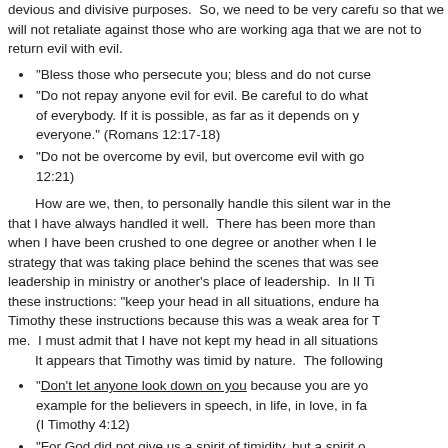devious and divisive purposes.  So, we need to be very careful so that we will not retaliate against those who are working against us that we are not to return evil with evil.
"Bless those who persecute you; bless and do not curse
"Do not repay anyone evil for evil. Be careful to do what is right in the eyes of everybody. If it is possible, as far as it depends on you, live at peace with everyone." (Romans 12:17-18)
"Do not be overcome by evil, but overcome evil with good." (Romans 12:21)
How are we, then, to personally handle this silent war in the church? I cannot say that I have always handled it well.  There has been more than one time in my ministry when I have been crushed to one degree or another when I learned of a subversive strategy that was taking place behind the scenes that was seeking to undermine my leadership in ministry or another's place of leadership.  In II Timothy Paul gave these instructions: "keep your head in all situations, endure hardship" Paul gave Timothy these instructions because this was a weak area for Timothy as it has been for me.  I must admit that I have not kept my head in all situations.
It appears that Timothy was timid by nature.  The following
"Don't let anyone look down on you because you are young, but set an example for the believers in speech, in life, in love, in faith and in purity." (I Timothy 4:12)
"For God did not give us a spirit of timidity, but a spirit of